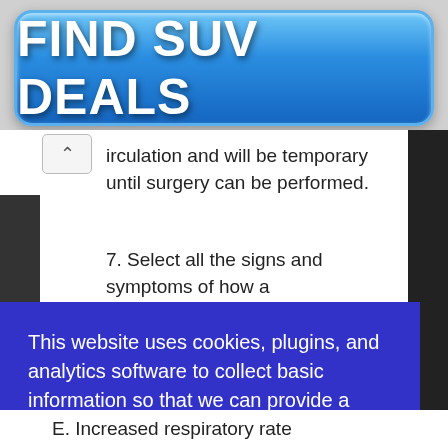[Figure (screenshot): Blue gradient button with white bold text reading FIND SUV DEALS]
circulation and will be temporary until surgery can be performed.
7. Select all the signs and symptoms of how a
This website uses cookies, plugins, and analytics software to collect basic information so that we can provide a good user experience. Do you consent to our privacy policy?
I Consent!
E. Increased respiratory rate